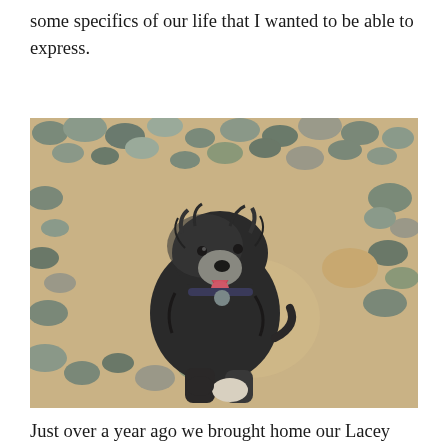some specifics of our life that I wanted to be able to express.
[Figure (photo): A black and white scruffy terrier-type dog sitting on a pebbly beach, looking up at the camera with its tongue out. The dog has a collar with a tag. The beach is sandy with many grey and beige pebbles scattered around.]
Just over a year ago we brought home our Lacey from the